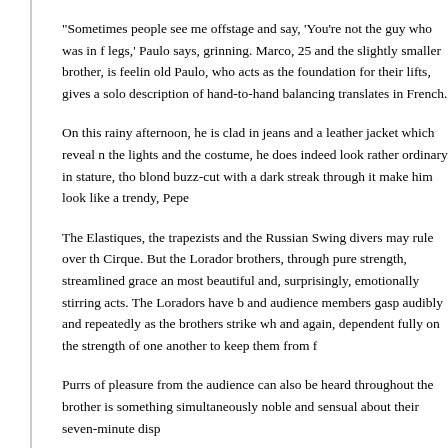“Sometimes people see me offstage and say, ‘You’re not the guy who was in the legs,’ Paulo says, grinning. Marco, 25 and the slightly smaller brother, is feeling old Paulo, who acts as the foundation for their lifts, gives a solo description of hand-to-hand balancing translates in French.
On this rainy afternoon, he is clad in jeans and a leather jacket which reveal the lights and the costume, he does indeed look rather ordinary in stature, the blond buzz-cut with a dark streak through it make him look like a trendy, Pepe
The Elastiques, the trapezists and the Russian Swing divers may rule over the Cirque. But the Lorador brothers, through pure strength, streamlined grace and most beautiful and, surprisingly, emotionally stirring acts. The Loradors have b and audience members gasp audibly and repeatedly as the brothers strike wh and again, dependent fully on the strength of one another to keep them from f
Purrs of pleasure from the audience can also be heard throughout the brother is something simultaneously noble and sensual about their seven-minute disp
When asked if he and Marco ever receive mash notes, Paulo modestly replie come to see the show, and stop to say ‘hi.’ I like compliments, of course. It ma
Having worked together since they were boys, the brothers find no problem